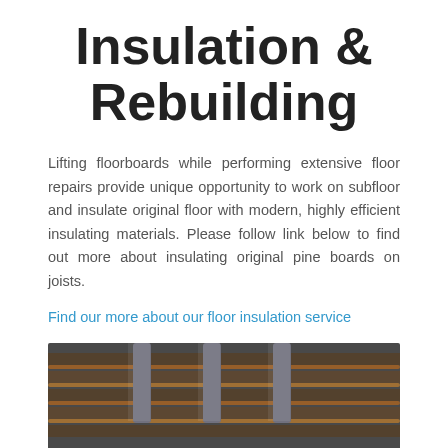Insulation & Rebuilding
Lifting floorboards while performing extensive floor repairs provide unique opportunity to work on subfloor and insulate original floor with modern, highly efficient insulating materials. Please follow link below to find out more about insulating original pine boards on joists.
Find our more about our floor insulation service
[Figure (photo): Photo of underfloor area showing copper pipes/heating elements laid across wooden joists during floor insulation or rebuilding work]